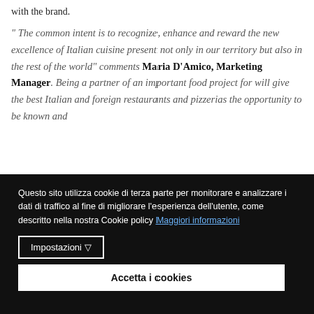with the brand.
" The common intent is to recognize, enhance and reward the new excellence of Italian cuisine present not only in our territory but also in the rest of the world" comments Maria D'Amico, Marketing Manager. Being a partner of an important food project for will give the best Italian and foreign restaurants and pizzerias the opportunity to be known and
Questo sito utilizza cookie di terza parte per monitorare e analizzare i dati di traffico al fine di migliorare l'esperienza dell'utente, come descritto nella nostra Cookie policy Maggiori informazioni
Impostazioni ▽
Accetta i cookies